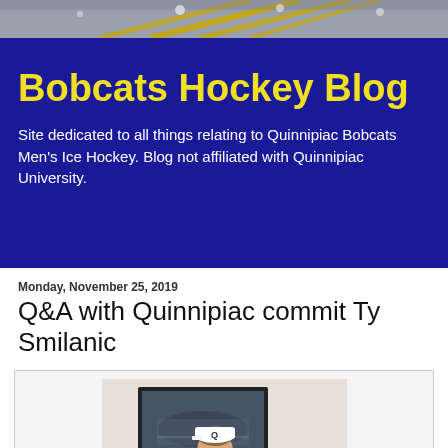[Figure (photo): Background photo of a hockey arena/facility ceiling with yellow structural beams]
Bobcats Hockey Blog
Site dedicated to all things relating to Quinnipiac Bobcats Men's Ice Hockey. Blog not affiliated with Quinnipiac University.
Monday, November 25, 2019
Q&A with Quinnipiac commit Ty Smilanic
[Figure (photo): Young man wearing a white Quinnipiac 'Q' cap, smiling, standing in front of a framed hockey arena photo on the wall]